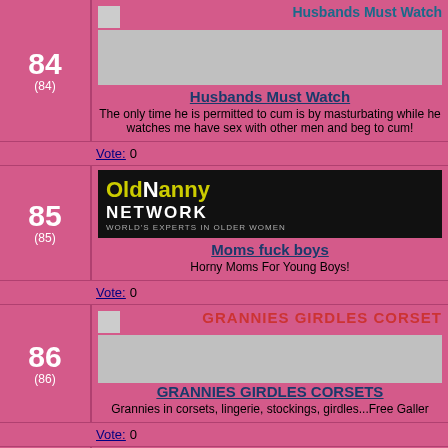84 (84)
[Figure (screenshot): Husbands Must Watch banner image]
Husbands Must Watch
The only time he is permitted to cum is by masturbating while he watches me have sex with other men and beg to cum!
Vote: 0
85 (85)
[Figure (screenshot): OldNanny Network banner]
Moms fuck boys
Horny Moms For Young Boys!
Vote: 0
86 (86)
[Figure (screenshot): Grannies Girdles Corsets banner]
GRANNIES GIRDLES CORSETS
Grannies in corsets, lingerie, stockings, girdles...Free Galleries
Vote: 0
87 (87)
[Figure (screenshot): I Love Granny banner]
Very old grannies
Amatur grannies with very hot chubby body and big boobs
Vote: 0